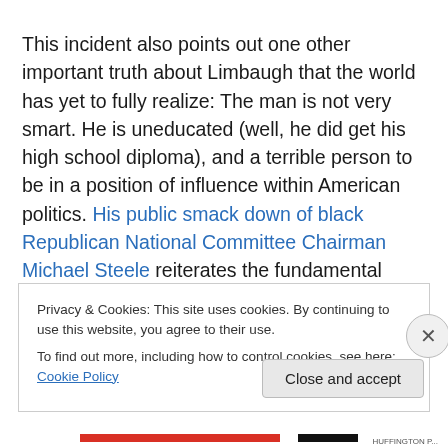This incident also points out one other important truth about Limbaugh that the world has yet to fully realize: The man is not very smart. He is uneducated (well, he did get his high school diploma), and a terrible person to be in a position of influence within American politics. His public smack down of black Republican National Committee Chairman Michael Steele reiterates the fundamental
Privacy & Cookies: This site uses cookies. By continuing to use this website, you agree to their use.
To find out more, including how to control cookies, see here: Cookie Policy